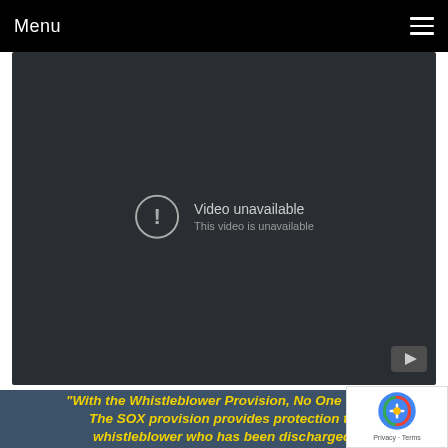Menu
[Figure (screenshot): Embedded YouTube video player showing 'Video unavailable - This video is unavailable' error message on a dark background]
"With the Whistleblower Provision, No One Wins: The SOX provision provides protection t... whistleblower who has been discharged,